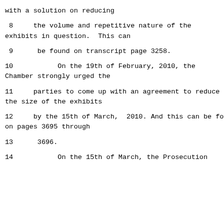with a solution on reducing
8     the volume and repetitive nature of the exhibits in question.  This can
9      be found on transcript page 3258.
10           On the 19th of February, 2010, the Chamber strongly urged the
11     parties to come up with an agreement to reduce the size of the exhibits
12     by the 15th of March,  2010. And this can be found on pages 3695 through
13      3696.
14           On the 15th of March, the Prosecution